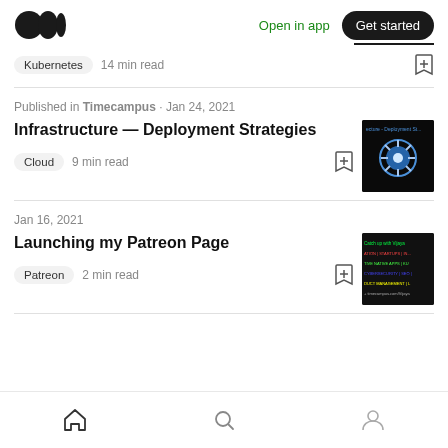Medium logo | Open in app | Get started
Kubernetes · 14 min read
Published in Timecampus · Jan 24, 2021
Infrastructure — Deployment Strategies
Cloud · 9 min read
Jan 16, 2021
Launching my Patreon Page
Patreon · 2 min read
Home | Search | Profile